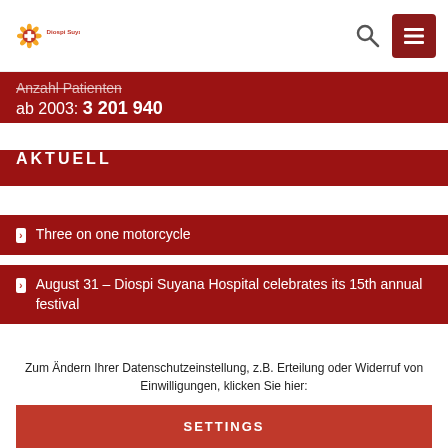[Figure (logo): Diospi Suyana logo: orange flower/sun shape with red cross in center, text 'Diospi Suyana' to the right]
ab 2003: 3 201 940
AKTUELL
Three on one motorcycle
August 31 – Diospi Suyana Hospital celebrates its 15th annual festival
Zum Ändern Ihrer Datenschutzeinstellung, z.B. Erteilung oder Widerruf von Einwilligungen, klicken Sie hier:
SETTINGS